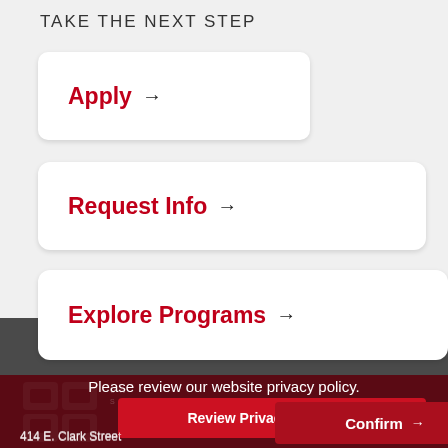TAKE THE NEXT STEP
Apply →
Request Info →
Explore Programs →
X
Please review our website privacy policy.
Review Privacy Policy →
Confirm →
414 E. Clark Street